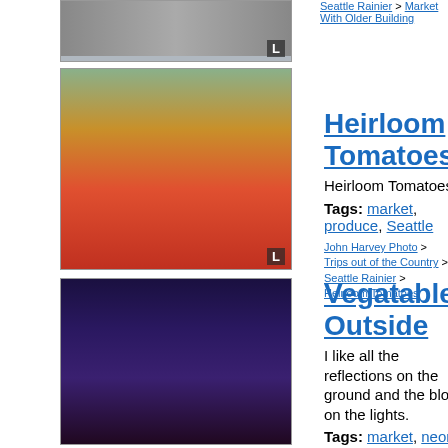[Figure (photo): Partial photo at top of page, appears to be a market scene with an L label]
Seattle Rainier > Market With Older Building
[Figure (photo): Heirloom tomatoes in wooden crates at a farmers market, with people shopping]
Heirloom Tomatoes
Heirloom Tomatoes
Tags: market, produce, Seattle
John Harvey Photo > Trips out of the Country > Seattle Rainier > Heirloom Tomatoes
[Figure (photo): Public Market Center sign at night with neon lights and reflections on wet ground]
Vegatables Outside
I like all the reflections on the ground and the bloom on the lights.
Tags: market, neon, Seattle